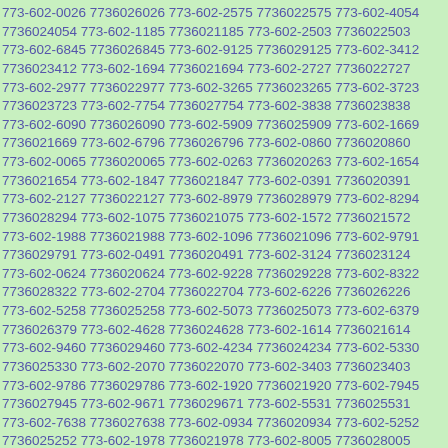773-602-0026 7736026026 773-602-2575 7736022575 773-602-4054 7736024054 773-602-1185 7736021185 773-602-2503 7736022503 773-602-6845 7736026845 773-602-9125 7736029125 773-602-3412 7736023412 773-602-1694 7736021694 773-602-2727 7736022727 773-602-2977 7736022977 773-602-3265 7736023265 773-602-3723 7736023723 773-602-7754 7736027754 773-602-3838 7736023838 773-602-6090 7736026090 773-602-5909 7736025909 773-602-1669 7736021669 773-602-6796 7736026796 773-602-0860 7736020860 773-602-0065 7736020065 773-602-0263 7736020263 773-602-1654 7736021654 773-602-1847 7736021847 773-602-0391 7736020391 773-602-2127 7736022127 773-602-8979 7736028979 773-602-8294 7736028294 773-602-1075 7736021075 773-602-1572 7736021572 773-602-1988 7736021988 773-602-1096 7736021096 773-602-9791 7736029791 773-602-0491 7736020491 773-602-3124 7736023124 773-602-0624 7736020624 773-602-9228 7736029228 773-602-8322 7736028322 773-602-2704 7736022704 773-602-6226 7736026226 773-602-5258 7736025258 773-602-5073 7736025073 773-602-6379 7736026379 773-602-4628 7736024628 773-602-1614 7736021614 773-602-9460 7736029460 773-602-4234 7736024234 773-602-5330 7736025330 773-602-2070 7736022070 773-602-3403 7736023403 773-602-9786 7736029786 773-602-1920 7736021920 773-602-7945 7736027945 773-602-9671 7736029671 773-602-5531 7736025531 773-602-7638 7736027638 773-602-0934 7736020934 773-602-5252 7736025252 773-602-1978 7736021978 773-602-8005 7736028005 773-602-3032 7736023032 773-602-4171 7736024171 773-602-4637 7736024637 773-602-9655 7736029655 773-602-0232 7736020232